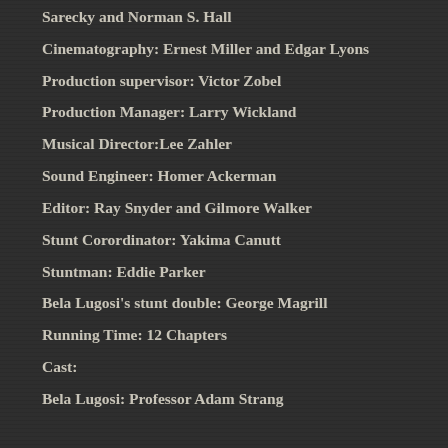Sarecky and Norman S. Hall
Cinematography: Ernest Miller and Edgar Lyons
Production supervisor: Victor Zobel
Production Manager: Larry Wickland
Musical Director:Lee Zahler
Sound Engineer: Homer Ackerman
Editor: Ray Snyder and Gilmore Walker
Stunt Corordinator: Yakima Canutt
Stuntman: Eddie Parker
Bela Lugosi's stunt double: George Magrill
Running Time: 12 Chapters
Cast:
Bela Lugosi: Professor Adam Strang